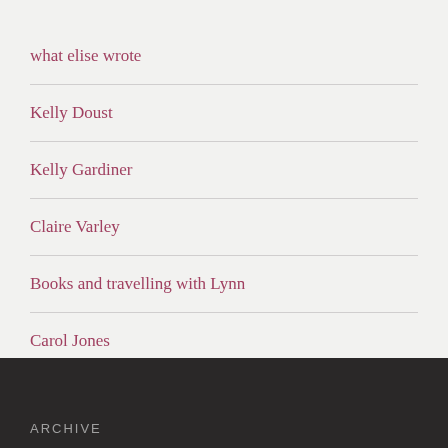what elise wrote
Kelly Doust
Kelly Gardiner
Claire Varley
Books and travelling with Lynn
Carol Jones
ARCHIVE